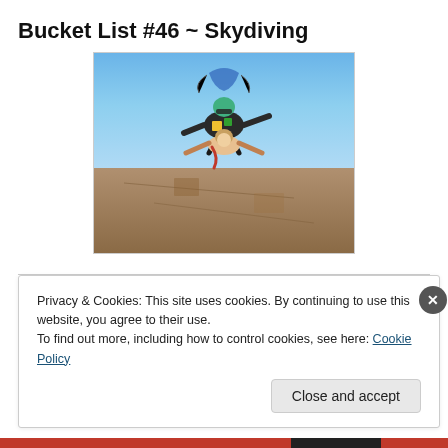Bucket List #46 ~ Skydiving
[Figure (photo): Tandem skydiving photo showing two people in freefall high above a brown landscape, blue sky background. The instructor wears a colorful jumpsuit and helmet, the student has arms spread wide.]
Privacy & Cookies: This site uses cookies. By continuing to use this website, you agree to their use.
To find out more, including how to control cookies, see here: Cookie Policy
Close and accept